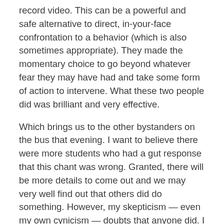record video. This can be a powerful and safe alternative to direct, in-your-face confrontation to a behavior (which is also sometimes appropriate). They made the momentary choice to go beyond whatever fear they may have had and take some form of action to intervene. What these two people did was brilliant and very effective.
Which brings us to the other bystanders on the bus that evening. I want to believe there were more students who had a gut response that this chant was wrong. Granted, there will be more details to come out and we may very well find out that others did do something. However, my skepticism — even my own cynicism — doubts that anyone did. I fear that every other bystander that evening chose to be passive.
The reality is that we are expecting college